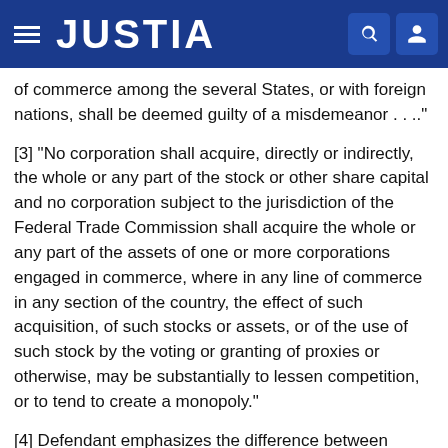JUSTIA
of commerce among the several States, or with foreign nations, shall be deemed guilty of a misdemeanor . . .."
[3] "No corporation shall acquire, directly or indirectly, the whole or any part of the stock or other share capital and no corporation subject to the jurisdiction of the Federal Trade Commission shall acquire the whole or any part of the assets of one or more corporations engaged in commerce, where in any line of commerce in any section of the country, the effect of such acquisition, of such stocks or assets, or of the use of such stock by the voting or granting of proxies or otherwise, may be substantially to lessen competition, or to tend to create a monopoly."
[4] Defendant emphasizes the difference between investigative credit reports and other types of reports. Ordinary credit reports are less expensive than